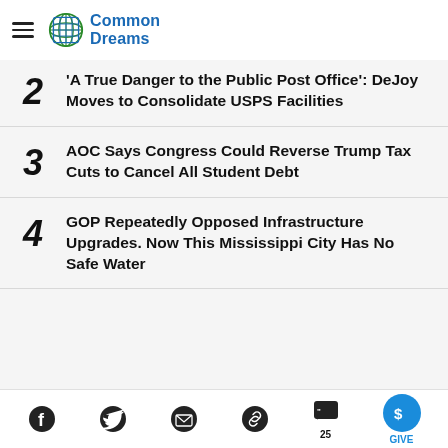Common Dreams
2 'A True Danger to the Public Post Office': DeJoy Moves to Consolidate USPS Facilities
3 AOC Says Congress Could Reverse Trump Tax Cuts to Cancel All Student Debt
4 GOP Repeatedly Opposed Infrastructure Upgrades. Now This Mississippi City Has No Safe Water
Social share icons: Facebook, Twitter, Email, Link, Comments 25, Give